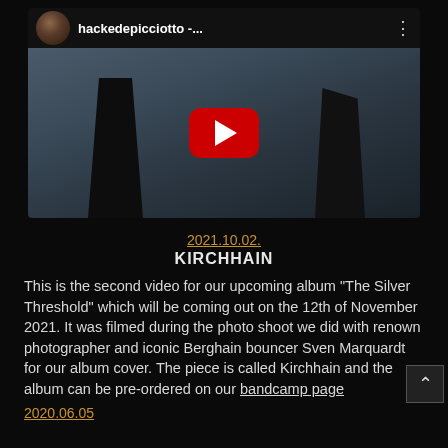[Figure (screenshot): YouTube video thumbnail showing two dark silhouettes of people standing in a dimly lit scene. The YouTube player interface is visible with a red play button in the center. The channel name 'hackedepicciotto -...' is shown in the header with a circular avatar photo.]
2021.10.02.
KIRCHHAIN
This is the second video for our upcoming album "The Silver Threshold" which will be coming out on the 12th of November 2021. It was filmed during the photo shoot we did with renown photographer and iconic Berghain bouncer Sven Marquardt for our album cover. The piece is called Kirchhain and the album can be pre-ordered on our bandcamp page
2020.06.05